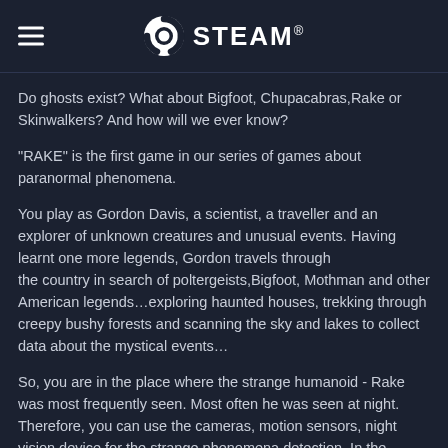STEAM
Do ghosts exist? What about Bigfoot, Chupacabras,Rake or Skinwalkers? And how will we ever know?
"RAKE" is the first game in our series of games about paranormal phenomena.
You play as Gordon Davis, a scientist, a traveller and an explorer of unknown creatures and unusual events. Having learnt one more legends, Gordon travels through the country in search of poltergeists,Bigfoot, Mothman and other American legends...exploring haunted houses, trekking through creepy bushy forests and scanning the sky and lakes to collect data about the mystical events...
So, you are in the place where the strange humanoid - Rake was most frequently seen. Most often he was seen at night. Therefore, you can use the cameras, motion sensors, night vision device for the strange phenomena detection. In the afternoon you are